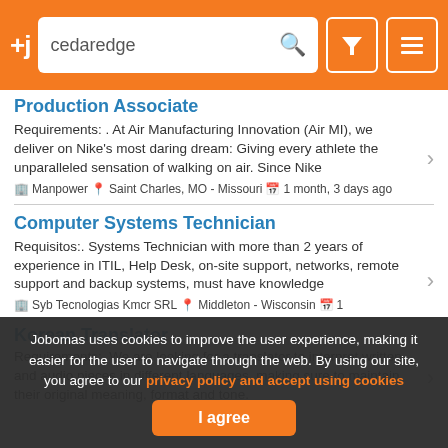+j  cedaredge [search bar with filter and menu icons]
Production Associate
Requirements: . At Air Manufacturing Innovation (Air MI), we deliver on Nike's most daring dream: Giving every athlete the unparalleled sensation of walking on air. Since Nike
🏢 Manpower 📍 Saint Charles, MO - Missouri 📅 1 month, 3 days ago
Computer Systems Technician
Requisitos:. Systems Technician with more than 2 years of experience in ITIL, Help Desk, on-site support, networks, remote support and backup systems, must have knowledge
🏢 Syb Tecnologias Kmcr SRL 📍 Middleton - Wisconsin 📅 1 m...
Korean Translator
Requirements:. We are looking for a translator to interpret written and audio pieces in different languages, making sure to maintain their original meaning, format and tone.
Jobomas uses cookies to improve the user experience, making it easier for the user to navigate through the web. By using our site, you agree to our privacy policy and accept using cookies
I agree